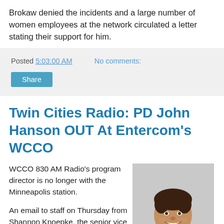Brokaw denied the incidents and a large number of women employees at the network circulated a letter stating their support for him.
Posted 5:03:00 AM   No comments:
Share
Twin Cities Radio: PD John Hanson OUT At Entercom's WCCO
WCCO 830 AM Radio's program director is no longer with the Minneapolis station.
An email to staff on Thursday from Shannon Knoepke, the senior vice president and Twin Cities market manager for the station's owner Entercom, said, "John Hanson is no longer with the company, effective today
[Figure (photo): Headshot photo of John Hanson, smiling man in dark suit]